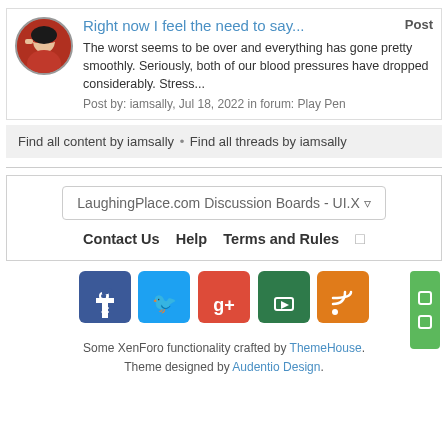Right now I feel the need to say...
The worst seems to be over and everything has gone pretty smoothly. Seriously, both of our blood pressures have dropped considerably. Stress...
Post by: iamsally, Jul 18, 2022 in forum: Play Pen
Post
Find all content by iamsally • Find all threads by iamsally
LaughingPlace.com Discussion Boards - UI.X
Contact Us   Help   Terms and Rules
[Figure (logo): Row of five social media icon buttons: Facebook (dark blue), Twitter (light blue), Google+ (red), YouTube/green, RSS/orange; plus a green vertical bar on the right]
Some XenForo functionality crafted by ThemeHouse. Theme designed by Audentio Design.